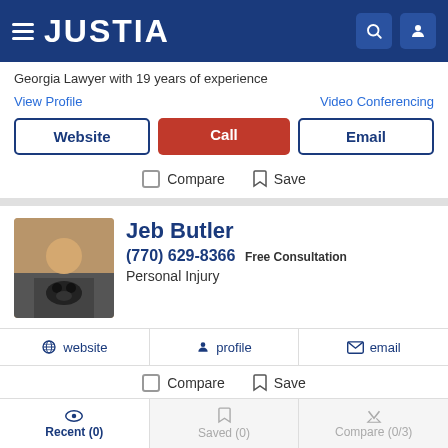JUSTIA
Georgia Lawyer with 19 years of experience
View Profile   Video Conferencing
Website | Call | Email
Compare   Save
Jeb Butler
(770) 629-8366 Free Consultation
Personal Injury
website   profile   email
Compare   Save
Recent (0)   Saved (0)   Compare (0/3)